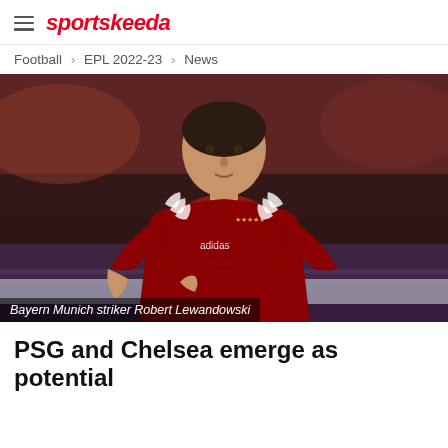sportskeeda
Football > EPL 2022-23 > News
[Figure (photo): Bayern Munich striker Robert Lewandowski in a dark red Bayern Munich jersey running on the pitch]
Bayern Munich striker Robert Lewandowski
PSG and Chelsea emerge as potential